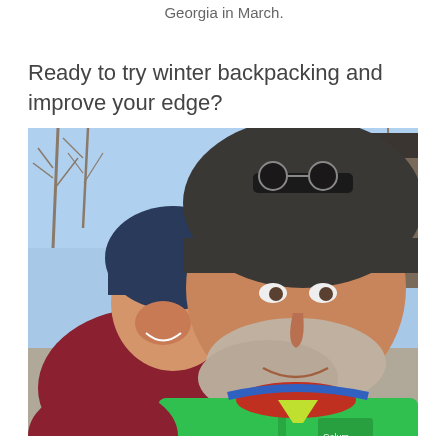Georgia in March.
Ready to try winter backpacking and improve your edge?
[Figure (photo): Selfie photo of two people outdoors in winter clothing. A woman wearing a navy blue beanie and red/maroon jacket on the left, and a man wearing a dark gray fleece beanie and green Columbia puffer jacket with a red layer underneath on the right. Both are smiling. In the background are bare deciduous trees and a wooden structure/cabin with a dark roof under a blue sky.]